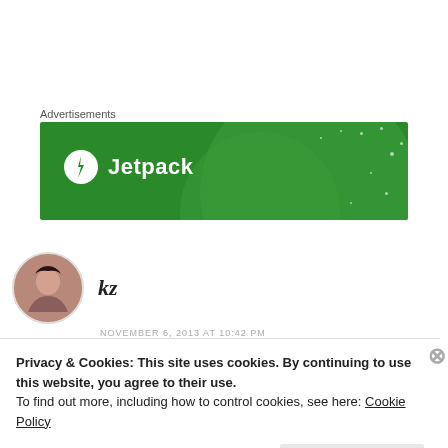Advertisements
[Figure (logo): Jetpack advertisement banner — green background with Jetpack logo and text]
[Figure (photo): Circular avatar photo of a young woman with dark hair]
kz
NOVEMBER 6, 2013 AT 10:42 PM
Privacy & Cookies: This site uses cookies. By continuing to use this website, you agree to their use.
To find out more, including how to control cookies, see here: Cookie Policy